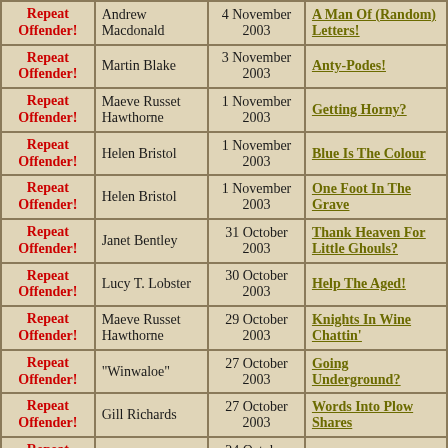|  | Author | Date | Title |
| --- | --- | --- | --- |
| Repeat Offender! | Andrew Macdonald | 4 November 2003 | A Man Of (Random) Letters! |
| Repeat Offender! | Martin Blake | 3 November 2003 | Anty-Podes! |
| Repeat Offender! | Maeve Russet Hawthorne | 1 November 2003 | Getting Horny? |
| Repeat Offender! | Helen Bristol | 1 November 2003 | Blue Is The Colour |
| Repeat Offender! | Helen Bristol | 1 November 2003 | One Foot In The Grave |
| Repeat Offender! | Janet Bentley | 31 October 2003 | Thank Heaven For Little Ghouls? |
| Repeat Offender! | Lucy T. Lobster | 30 October 2003 | Help The Aged! |
| Repeat Offender! | Maeve Russet Hawthorne | 29 October 2003 | Knights In Wine Chattin' |
| Repeat Offender! | "Winwaloe" | 27 October 2003 | Going Underground? |
| Repeat Offender! | Gill Richards | 27 October 2003 | Words Into Plow Shares |
| Repeat Offender! | Helen Bristol | 24 October 2003 | Corks Queue |